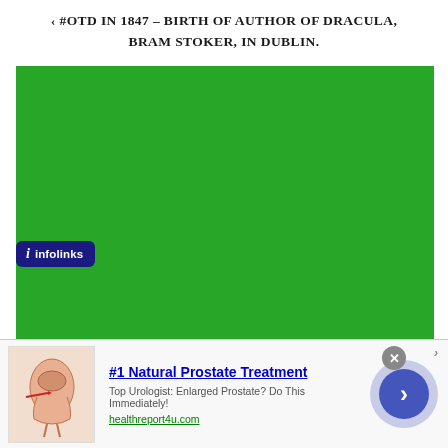‹ #OTD IN 1847 – BIRTH OF AUTHOR OF DRACULA, BRAM STOKER, IN DUBLIN.
[Figure (other): Large solid green rectangle filling the main content area of the page]
infolinks
#1 Natural Prostate Treatment
Top Urologist: Enlarged Prostate? Do This Immediately!
healthreport4u.com